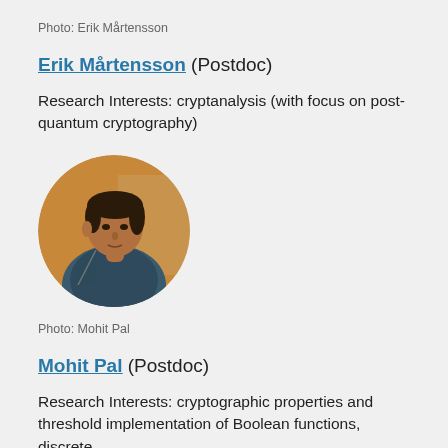Photo: Erik Mårtensson
Erik Mårtensson (Postdoc)
Research Interests: cryptanalysis (with focus on post-quantum cryptography)
[Figure (photo): Circular portrait photo of Mohit Pal, a young man in a blue shirt, seated in front of an orange/brown background]
Photo: Mohit Pal
Mohit Pal (Postdoc)
Research Interests: cryptographic properties and threshold implementation of Boolean functions, discrete